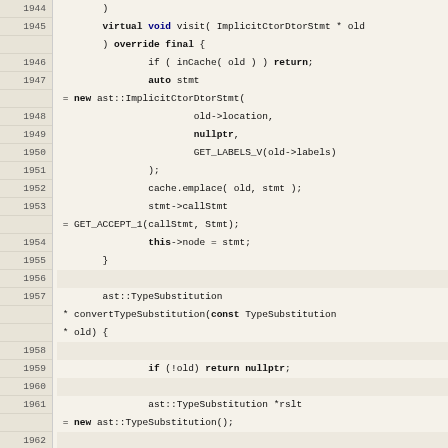[Figure (screenshot): Source code listing in C++ showing lines 1944-1968, with line numbers on the left in a tan/beige column, and code on the right with syntax highlighting (bold keywords). Code shows virtual void visit(), ImplicitCtorDtorStmt, cache.emplace, stmt->callStmt, convertTypeSubstitution, TypeSubstitution, for loops with decltype, rslt->add, getAccept1<ast::Type>.]